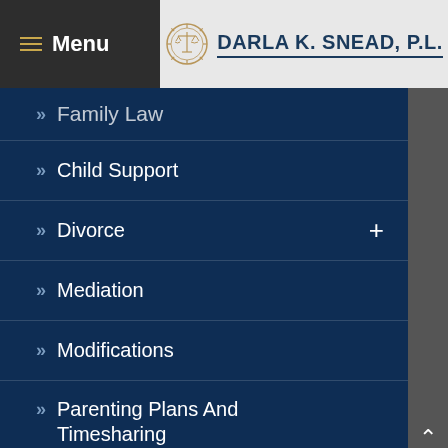[Figure (logo): Darla K. Snead P.L. law firm logo with scales of justice emblem and firm name]
Family Law
Child Support
Divorce
Mediation
Modifications
Parenting Plans And Timesharing
Paternity